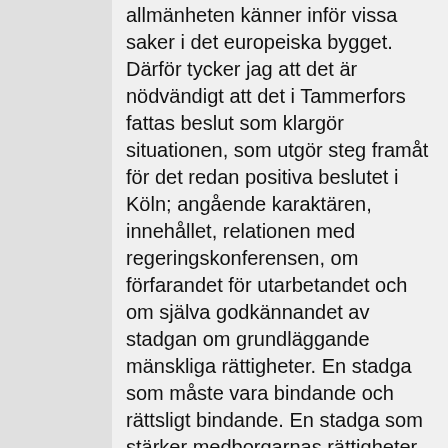allmänheten känner inför vissa saker i det europeiska bygget. Därför tycker jag att det är nödvändigt att det i Tammerfors fattas beslut som klargör situationen, som utgör steg framåt för det redan positiva beslutet i Köln; angående karaktären, innehållet, relationen med regeringskonferensen, om förfarandet för utarbetandet och om själva godkännandet av stadgan om grundläggande mänskliga rättigheter. En stadga som måste vara bindande och rättsligt bindande. En stadga som stärker medborgarnas rättigheter och i slutändan det europeiska medborgarskapet. En stadga vars område skall gälla alla som bor och arbetar i unionen. En stadga som alltså måste höra ihop med regeringskonferensen, för att revidera Amsterdamfördraget. En stadga som måste kunna räkna